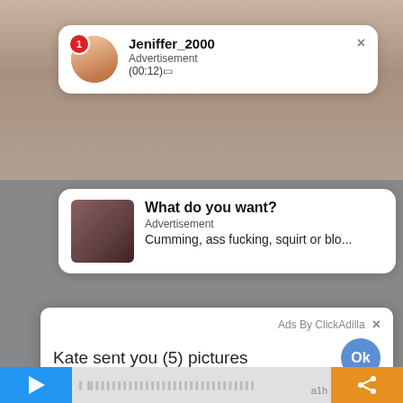[Figure (screenshot): Background showing a woman's photo partially visible behind notification cards]
Jeniffer_2000
Advertisement
(00:12)🟥
What do you want?
Advertisement
Cumming, ass fucking, squirt or blo...
sex in Ashburn
SearchingForSingles 🔲🔲
Ads By ClickAdilla ×
Kate sent you (5) pictures
Click OK to display the photo
Ok
Ok
a1h